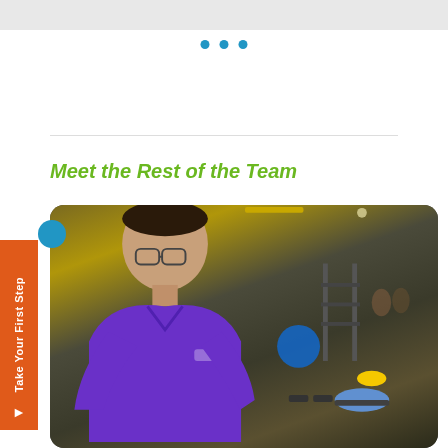[Figure (other): Gray top navigation/header bar at top of page]
[Figure (other): Three blue dots (carousel/pagination indicator)]
Meet the Rest of the Team
[Figure (photo): Photo of a man with glasses wearing a purple polo shirt smiling in a gym/fitness center. Gym equipment including barbells, weight racks, exercise balls visible in background. Orange vertical 'Take Your First Step' button on left side.]